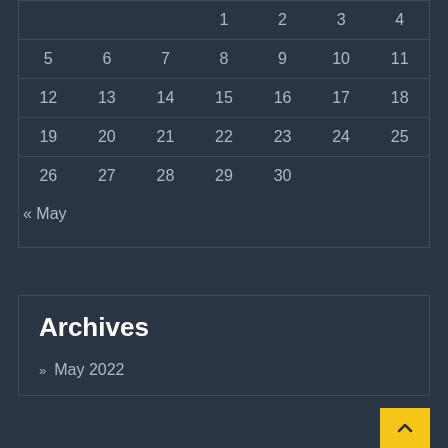|  |  |  |  |  |  |  |
| --- | --- | --- | --- | --- | --- | --- |
|  |  |  | 1 | 2 | 3 | 4 |
| 5 | 6 | 7 | 8 | 9 | 10 | 11 |
| 12 | 13 | 14 | 15 | 16 | 17 | 18 |
| 19 | 20 | 21 | 22 | 23 | 24 | 25 |
| 26 | 27 | 28 | 29 | 30 |  |  |
« May
Archives
» May 2022